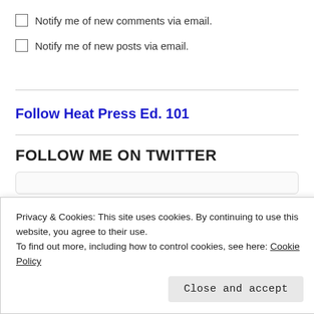Notify me of new comments via email.
Notify me of new posts via email.
Follow Heat Press Ed. 101
FOLLOW ME ON TWITTER
Privacy & Cookies: This site uses cookies. By continuing to use this website, you agree to their use.
To find out more, including how to control cookies, see here: Cookie Policy
Close and accept